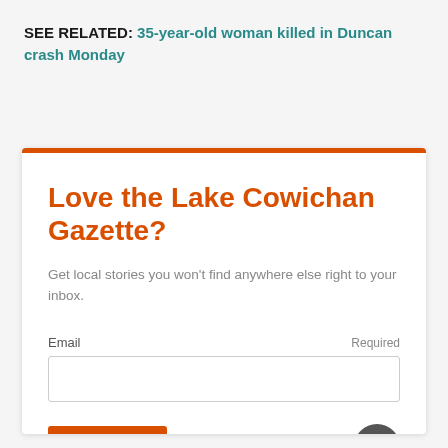SEE RELATED: 35-year-old woman killed in Duncan crash Monday
Love the Lake Cowichan Gazette?
Get local stories you won't find anywhere else right to your inbox.
Email Required
SIGN UP